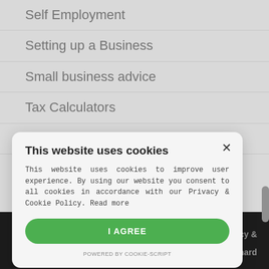Self Employment
Setting up a Business
Small business advice
Tax Calculators
Tax planning
This website uses cookies

This website uses cookies to improve user experience. By using our website you consent to all cookies in accordance with our Privacy & Cookie Policy. Read more

I AGREE

POWERED BY COOKIE-SCRIPT
| Privacy &   m Orchard